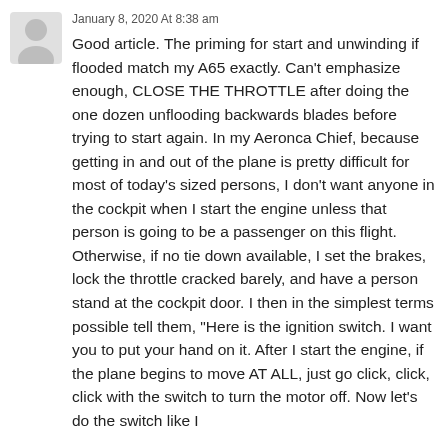January 8, 2020 At 8:38 am
Good article. The priming for start and unwinding if flooded match my A65 exactly. Can't emphasize enough, CLOSE THE THROTTLE after doing the one dozen unflooding backwards blades before trying to start again. In my Aeronca Chief, because getting in and out of the plane is pretty difficult for most of today's sized persons, I don't want anyone in the cockpit when I start the engine unless that person is going to be a passenger on this flight. Otherwise, if no tie down available, I set the brakes, lock the throttle cracked barely, and have a person stand at the cockpit door. I then in the simplest terms possible tell them, "Here is the ignition switch. I want you to put your hand on it. After I start the engine, if the plane begins to move AT ALL, just go click, click, click with the switch to turn the motor off. Now let's do the switch like I